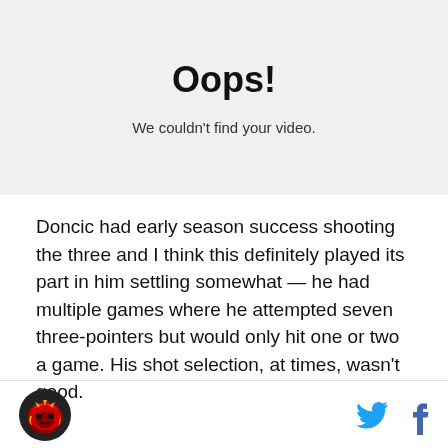[Figure (other): Video player placeholder with grey background showing Oops! error message and We couldn't find your video. text]
Doncic had early season success shooting the three and I think this definitely played its part in him settling somewhat — he had multiple games where he attempted seven three-pointers but would only hit one or two a game. His shot selection, at times, wasn't good.
Site logo and social media icons (Twitter, Facebook)